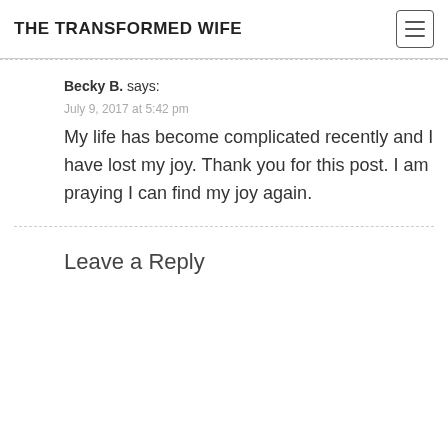THE TRANSFORMED WIFE
Becky B. says:
July 9, 2017 at 5:42 pm
My life has become complicated recently and I have lost my joy. Thank you for this post. I am praying I can find my joy again.
Leave a Reply